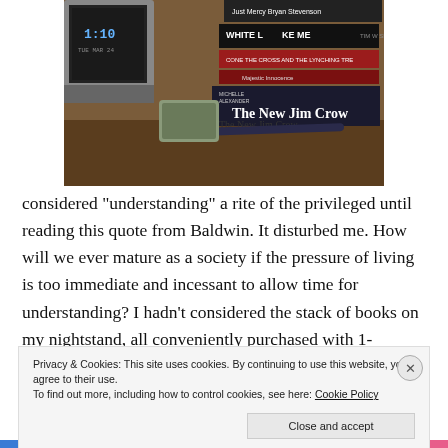[Figure (photo): A stack of books on a wooden nightstand including 'Just Mercy' by Bryan Stevenson, 'White Like Me' by Tim Wise, 'The Cross and the Lynching Tree', 'The New Jim Crow' by Michelle Alexander, and others. A pen and a TV showing the time 1:10 are also visible.]
considered "understanding" a rite of the privileged until reading this quote from Baldwin. It disturbed me. How will we ever mature as a society if the pressure of living is too immediate and incessant to allow time for understanding? I hadn't considered the stack of books on my nightstand, all conveniently purchased with 1-
Privacy & Cookies: This site uses cookies. By continuing to use this website, you agree to their use.
To find out more, including how to control cookies, see here: Cookie Policy
Close and accept